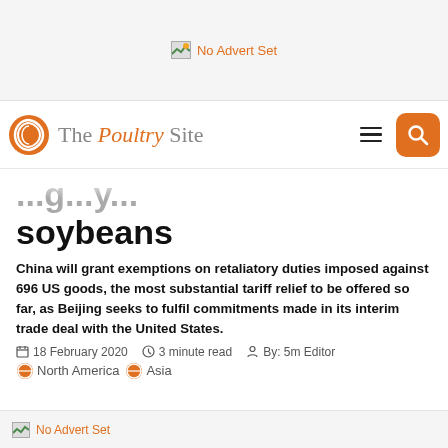[Figure (other): No Advert Set placeholder banner at top of page]
The Poultry Site
...soybeans
China will grant exemptions on retaliatory duties imposed against 696 US goods, the most substantial tariff relief to be offered so far, as Beijing seeks to fulfil commitments made in its interim trade deal with the United States.
18 February 2020   3 minute read   By: 5m Editor
North America   Asia
[Figure (other): No Advert Set placeholder banner at bottom of page]